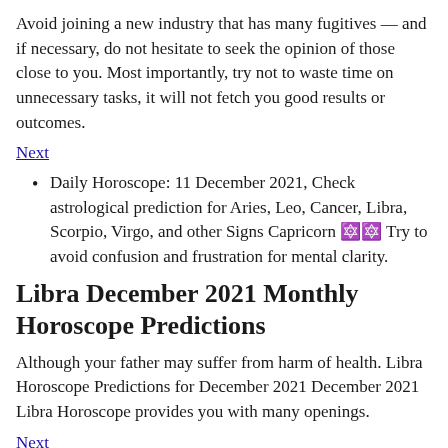Avoid joining a new industry that has many fugitives — and if necessary, do not hesitate to seek the opinion of those close to you. Most importantly, try not to waste time on unnecessary tasks, it will not fetch you good results or outcomes.
Next
Daily Horoscope: 11 December 2021, Check astrological prediction for Aries, Leo, Cancer, Libra, Scorpio, Virgo, and other Signs Capricorn 🔯 Try to avoid confusion and frustration for mental clarity.
Libra December 2021 Monthly Horoscope Predictions
Although your father may suffer from harm of health. Libra Horoscope Predictions for December 2021 December 2021 Libra Horoscope provides you with many openings.
Next
This is an aspect that will be more or less exact all month due to the retrograde of within a degree of the position.